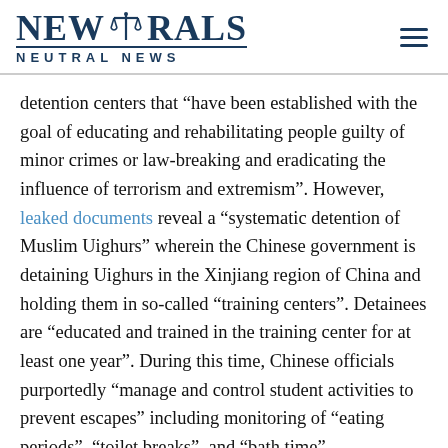NEW TRALS NEUTRAL NEWS
detention centers that “have been established with the goal of educating and rehabilitating people guilty of minor crimes or law-breaking and eradicating the influence of terrorism and extremism”. However, leaked documents reveal a “systematic detention of Muslim Uighurs” wherein the Chinese government is detaining Uighurs in the Xinjiang region of China and holding them in so-called “training centers”. Detainees are “educated and trained in the training center for at least one year”. During this time, Chinese officials purportedly “manage and control student activities to prevent escapes” including monitoring of “eating periods”, “toilet breaks”, and “bath time”.
In response, the United States has recently passed the Uyghur Human Rights Policy Act of 2020, which President